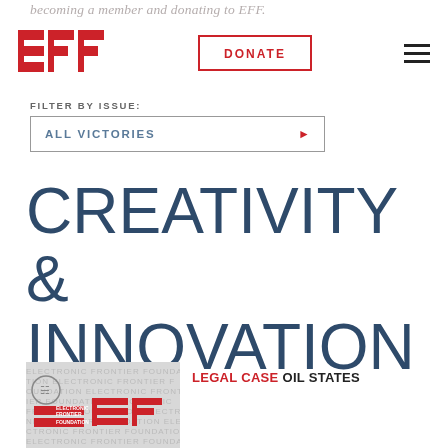becoming a member and donating to EFF.
[Figure (logo): EFF (Electronic Frontier Foundation) red block logo with three horizontal bars forming letters E-F-F]
DONATE
FILTER BY ISSUE:
ALL VICTORIES
CREATIVITY & INNOVATION
[Figure (logo): EFF Electronic Frontier Foundation logo thumbnail with watermark text background]
LEGAL CASE OIL STATES